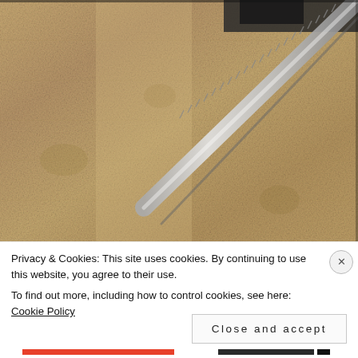[Figure (photo): Close-up photo of a beige/tan carpet being cleaned with a silver metal cleaning wand/tool. The wand enters from the upper right corner diagonally. The carpet shows texture variation typical of steam cleaning or extraction.]
Privacy & Cookies: This site uses cookies. By continuing to use this website, you agree to their use.
To find out more, including how to control cookies, see here: Cookie Policy
Close and accept